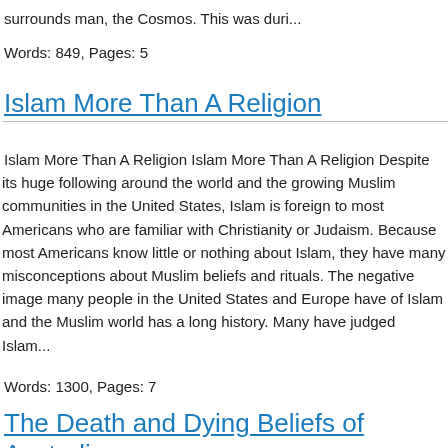surrounds man, the Cosmos. This was duri...
Words: 849, Pages: 5
Islam More Than A Religion
Islam More Than A Religion Islam More Than A Religion Despite its huge following around the world and the growing Muslim communities in the United States, Islam is foreign to most Americans who are familiar with Christianity or Judaism. Because most Americans know little or nothing about Islam, they have many misconceptions about Muslim beliefs and rituals. The negative image many people in the United States and Europe have of Islam and the Muslim world has a long history. Many have judged Islam...
Words: 1300, Pages: 7
The Death and Dying Beliefs of Australian